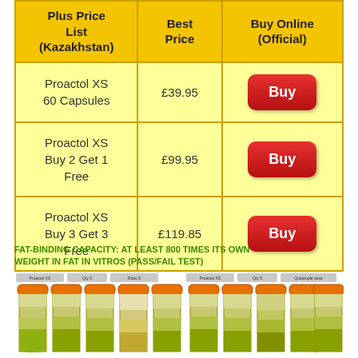| Plus Price List (Kazakhstan) | Best Price | Buy Online (Official) |
| --- | --- | --- |
| Proactol XS 60 Capsules | £39.95 | Buy |
| Proactol XS Buy 2 Get 1 Free | £99.95 | Buy |
| Proactol XS Buy 3 Get 3 Free | £119.85 | Buy |
FAT-BINDING CAPACITY: AT LEAST 800 TIMES ITS OWN WEIGHT IN FAT IN VITROS (PASS/FAIL TEST)
[Figure (photo): Two groups of laboratory test tubes with orange caps containing layered liquid samples (yellow-green at bottom), showing fat-binding capacity test results for Proactol XS versus a generic/competitor product.]